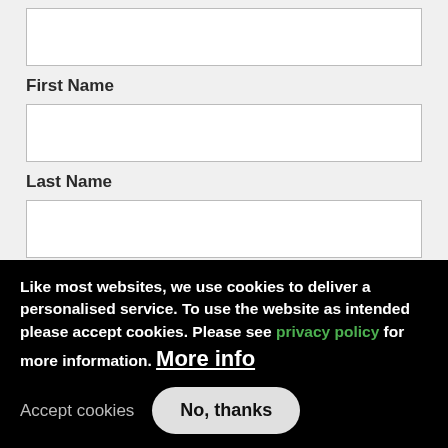[Figure (screenshot): Empty text input field for a form (top field, partially visible)]
First Name
[Figure (screenshot): Empty text input field for First Name]
Last Name
[Figure (screenshot): Empty text input field for Last Name]
[Figure (screenshot): Green SUBSCRIBE button]
We take care to protect and respect any personal data you share
Like most websites, we use cookies to deliver a personalised service. To use the website as intended please accept cookies. Please see privacy policy for more information. More info
Accept cookies
No, thanks